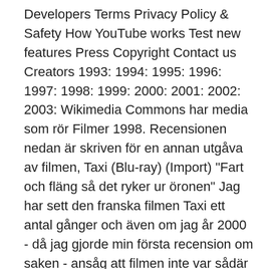Developers Terms Privacy Policy & Safety How YouTube works Test new features Press Copyright Contact us Creators 1993: 1994: 1995: 1996: 1997: 1998: 1999: 2000: 2001: 2002: 2003: Wikimedia Commons har media som rör Filmer 1998. Recensionen nedan är skriven för en annan utgåva av filmen, Taxi (Blu-ray) (Import) "Fart och fläng så det ryker ur öronen" Jag har sett den franska filmen Taxi ett antal gånger och även om jag år 2000 - då jag gjorde min första recension om saken - ansåg att filmen inte var sådär våldsamt lysande så är den en av de filmer som vuxit und Taxi Taxi 2 Taxi 3 Taxi 4 Taxi 5; Regi Gérard Pirès Gérard Krawczyk Franck Gastambide Manus Luc Besson Franck Gastambide, Stéphane Kazandjian, Luc Besson Producent Luc Besson Michèle Pétin Laurent Pétin Fransk premiär 8 april 1998 29 mars 2000 29 jan